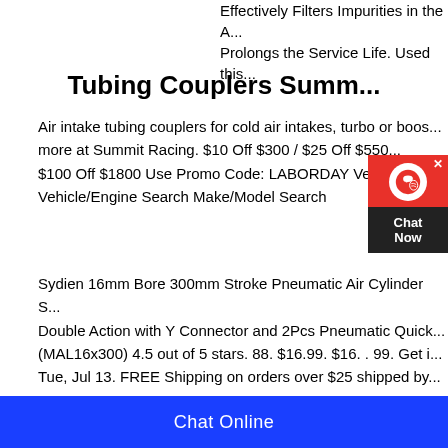Effectively Filters Impurities in the A... Prolongs the Service Life. Used this...
Tubing Couplers Summ...
Air intake tubing couplers for cold air intakes, turbo or boos... more at Summit Racing. $10 Off $300 / $25 Off $550... $100 Off $1800 Use Promo Code: LABORDAY Vehic... Vehicle/Engine Search Make/Model Search
[Figure (other): Live chat widget with red top section showing a headset icon, an 'x' close button, and a dark bottom section showing 'Chat Now' text]
Sydien 16mm Bore 300mm Stroke Pneumatic Air Cylinder S... Double Action with Y Connector and 2Pcs Pneumatic Quick... (MAL16x300) 4.5 out of 5 stars. 88. $16.99. $16. . 99. Get i... Tue, Jul 13. FREE Shipping on orders over $25 shipped by...
Chat Online